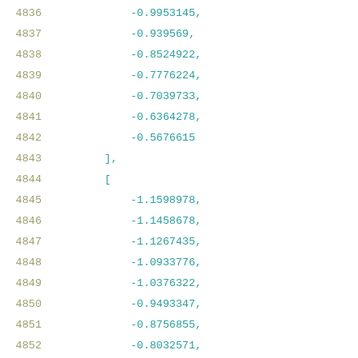4836    -0.9953145,
4837    -0.939569,
4838    -0.8524922,
4839    -0.7776224,
4840    -0.7039733,
4841    -0.6364278,
4842    -0.5676615
4843    ],
4844    [
4845    -1.1598978,
4846    -1.1458678,
4847    -1.1267435,
4848    -1.0933776,
4849    -1.0376322,
4850    -0.9493347,
4851    -0.8756855,
4852    -0.8032571,
4853    -0.7332702,
4854    -0.6657246
4855    ]
4856    ]
4857    }